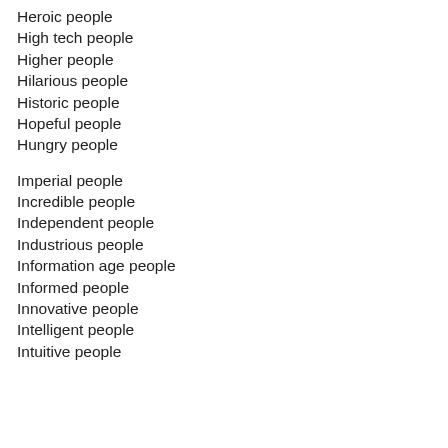Heroic people
High tech people
Higher people
Hilarious people
Historic people
Hopeful people
Hungry people
Imperial people
Incredible people
Independent people
Industrious people
Information age people
Informed people
Innovative people
Intelligent people
Intuitive people